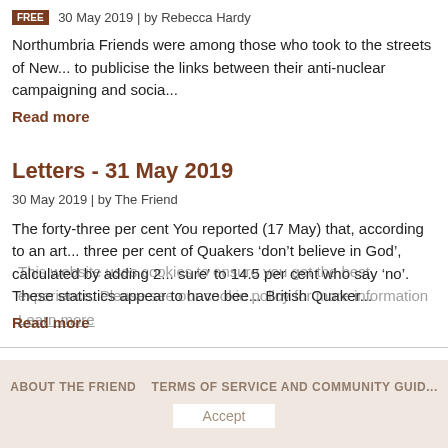FREE 30 May 2019 | by Rebecca Hardy
Northumbria Friends were among those who took to the streets of New... to publicise the links between their anti-nuclear campaigning and socia...
Read more
Letters - 31 May 2019
30 May 2019 | by The Friend
The forty-three per cent You reported (17 May) that, according to an art... three per cent of Quakers ‘don’t believe in God’, calculated by adding 2... sure’ to 14.5 per cent who say ‘no’. These statistics appear to have bee... British Quaker...
Read more
This website uses cookies to ensure you get the best experience. Please see our cookie policy for more information Learn more
ABOUT THE FRIEND   TERMS OF SERVICE AND COMMUNITY GUID...
Accept